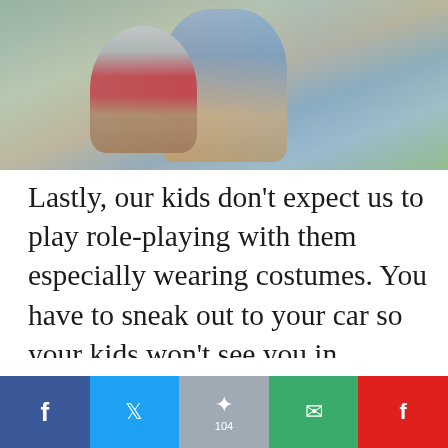[Figure (photo): Two children (or a parent and child) hugging from behind, walking outdoors on a path with greenery in the background. One wears a light blue top, the other has a red outfit.]
Lastly, our kids don't expect us to play role-playing with them especially wearing costumes. You have to sneak out to your car so your kids won't see you in costume! Superhero costumes and Halloween masks will be useful early in the year!